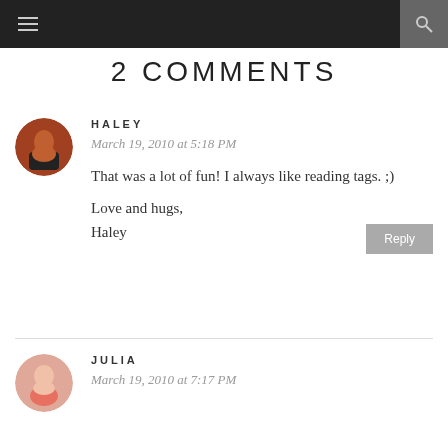2 COMMENTS
HALEY
March 19, 2010 at 5:18 PM
That was a lot of fun! I always like reading tags. ;)

Love and hugs,
Haley
JULIA